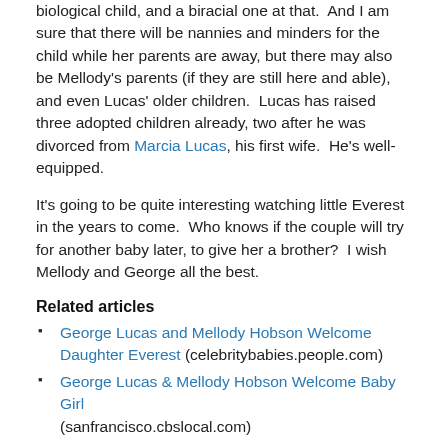biological child, and a biracial one at that. And I am sure that there will be nannies and minders for the child while her parents are away, but there may also be Mellody's parents (if they are still here and able), and even Lucas' older children. Lucas has raised three adopted children already, two after he was divorced from Marcia Lucas, his first wife. He's well-equipped.
It's going to be quite interesting watching little Everest in the years to come. Who knows if the couple will try for another baby later, to give her a brother? I wish Mellody and George all the best.
Related articles
George Lucas and Mellody Hobson Welcome Daughter Everest (celebritybabies.people.com)
George Lucas & Mellody Hobson Welcome Baby Girl (sanfrancisco.cbslocal.com)